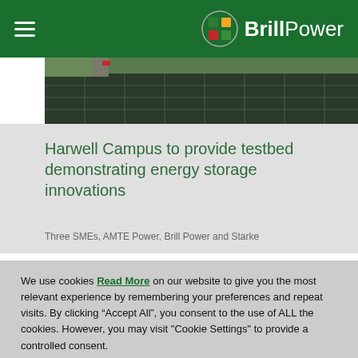BrillPower
[Figure (photo): Aerial view of a solar panel installation on a large rooftop or field at Harwell Campus]
Harwell Campus to provide testbed demonstrating energy storage innovations
Three SMEs, AMTE Power, Brill Power and Starke
We use cookies Read More on our website to give you the most relevant experience by remembering your preferences and repeat visits. By clicking “Accept All”, you consent to the use of ALL the cookies. However, you may visit "Cookie Settings" to provide a controlled consent.